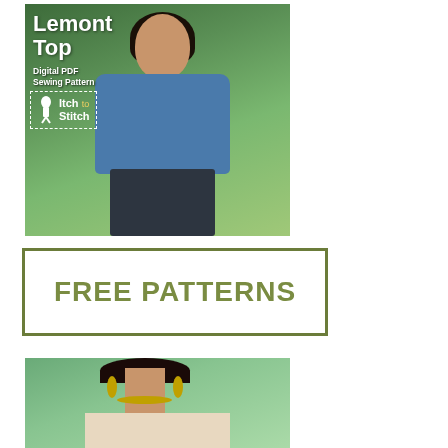[Figure (photo): Photo of an Asian woman wearing a blue puffed-sleeve top (Lemont Top) standing outdoors among trees. Text overlay reads 'Lemont Top Digital PDF Sewing Pattern' with the Itch to Stitch logo in a dashed border box.]
[Figure (infographic): Rectangular banner with olive green border on white background reading 'FREE PATTERNS' in large olive green bold letters.]
[Figure (photo): Cropped photo of a woman wearing a floral top with gold hoop earrings and necklace, outdoors with green background.]